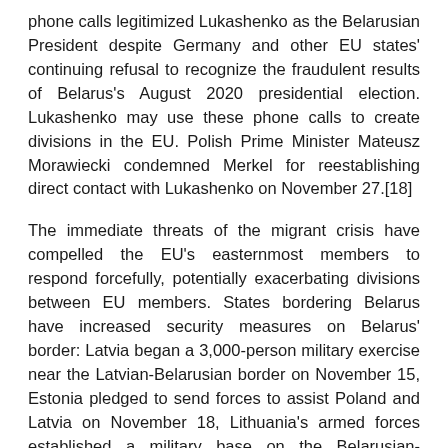phone calls legitimized Lukashenko as the Belarusian President despite Germany and other EU states' continuing refusal to recognize the fraudulent results of Belarus's August 2020 presidential election. Lukashenko may use these phone calls to create divisions in the EU. Polish Prime Minister Mateusz Morawiecki condemned Merkel for reestablishing direct contact with Lukashenko on November 27.[18]
The immediate threats of the migrant crisis have compelled the EU's easternmost members to respond forcefully, potentially exacerbating divisions between EU members. States bordering Belarus have increased security measures on Belarus' border: Latvia began a 3,000-person military exercise near the Latvian-Belarusian border on November 15, Estonia pledged to send forces to assist Poland and Latvia on November 18, Lithuania's armed forces established a military base on the Belarusian-Lithuanian border on November 22, and Ukraine launched a new operation to reinforce the Ukrainian-Belarusian border from migrants on November 24.[19] The EU and several of its western members have previously responded negatively to